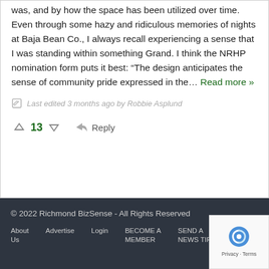was, and by how the space has been utilized over time. Even through some hazy and ridiculous memories of nights at Baja Bean Co., I always recall experiencing a sense that I was standing within something Grand. I think the NRHP nomination form puts it best: “The design anticipates the sense of community pride expressed in the… Read more »
Last edited 3 months ago by Robbie Asplund
13   Reply
© 2022 Richmond BizSense - All Rights Reserved   About Us   Advertise   Login   BECOME A MEMBER   SEND A NEWS TIP